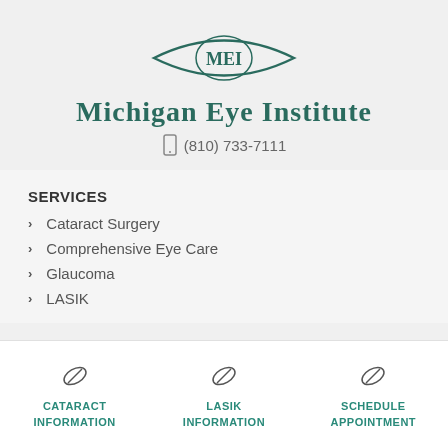[Figure (logo): Michigan Eye Institute (MEI) logo — eye-shaped curve with MEI text inside, teal/dark green color]
Michigan Eye Institute
(810) 733-7111
SERVICES
Cataract Surgery
Comprehensive Eye Care
Glaucoma
LASIK
[Figure (infographic): Three bottom navigation icons with labels: CATARACT INFORMATION, LASIK INFORMATION, SCHEDULE APPOINTMENT — each with a pencil/eye icon above in teal]